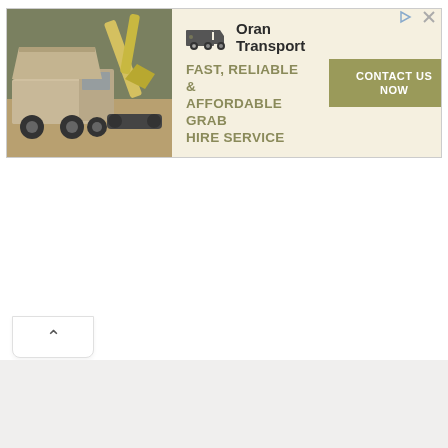[Figure (infographic): Advertisement banner for Oran Transport grab hire service. Shows construction machinery image on left, company logo with truck icon in center, tagline 'FAST, RELIABLE & AFFORDABLE GRAB HIRE SERVICE', and a green 'CONTACT US NOW' button on the right. Dark background with olive/khaki color scheme.]
^